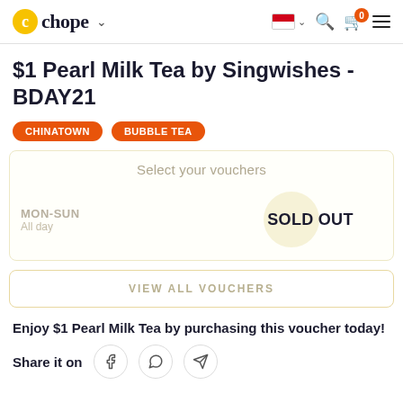Chope - SOLD OUT deal page
$1 Pearl Milk Tea by Singwishes - BDAY21
CHINATOWN
BUBBLE TEA
Select your vouchers
MON-SUN
All day
SOLD OUT
VIEW ALL VOUCHERS
Enjoy $1 Pearl Milk Tea by purchasing this voucher today!
Share it on